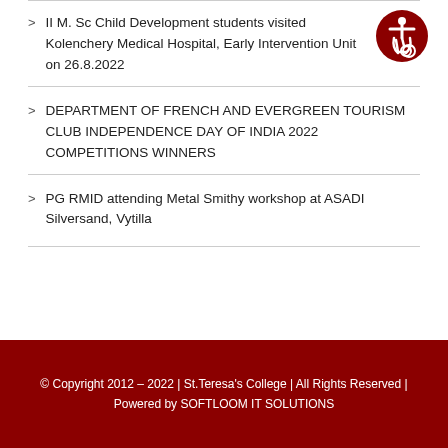II M. Sc Child Development students visited Kolenchery Medical Hospital, Early Intervention Unit on 26.8.2022
DEPARTMENT OF FRENCH AND EVERGREEN TOURISM CLUB INDEPENDENCE DAY OF INDIA 2022 COMPETITIONS WINNERS
PG RMID attending Metal Smithy workshop at ASADI Silversand, Vytilla
© Copyright 2012 – 2022 | St.Teresa's College | All Rights Reserved | Powered by SOFTLOOM IT SOLUTIONS